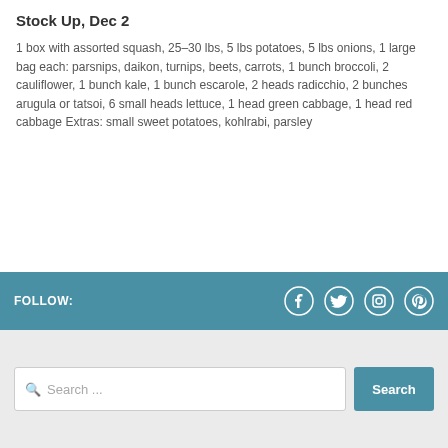Stock Up, Dec 2
1 box with assorted squash, 25–30 lbs, 5 lbs potatoes, 5 lbs onions, 1 large bag each: parsnips, daikon, turnips, beets, carrots, 1 bunch broccoli, 2 cauliflower, 1 bunch kale, 1 bunch escarole, 2 heads radicchio, 2 bunches arugula or tatsoi, 6 small heads lettuce, 1 head green cabbage, 1 head red cabbage Extras: small sweet potatoes, kohlrabi, parsley
FOLLOW: [Facebook] [Twitter] [Instagram] [Pinterest]
Search ...